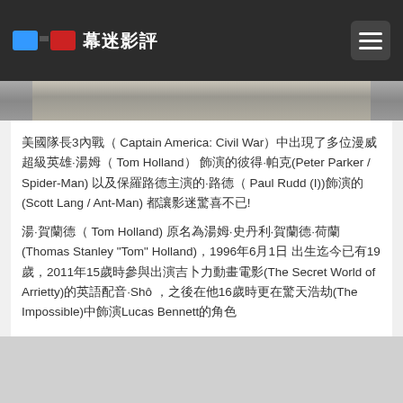幕迷影評
[Figure (photo): Partial photo strip visible at top of content area]
美國隊長3內戰（ Captain America: Civil War）中出現了多位漫威超級英雄·湯姆（ Tom Holland） 飾演的彼得·帕克(Peter Parker / Spider-Man) 以及保羅路德主演的·路德（ Paul Rudd (I))飾演的(Scott Lang / Ant-Man) 都讓影迷驚喜不已!
湯·賀蘭德（ Tom Holland) 原名為湯姆·史丹利·賀蘭德·荷蘭(Thomas Stanley "Tom" Holland)，1996年6月1日 出生迄今已有19歲，2011年15歲時參與出演吉卜力動畫電影(The Secret World of Arrietty)的英語配音·Shô ，之後在他16歲時更在驚天浩劫(The Impossible)中飾演Lucas Bennett的角色